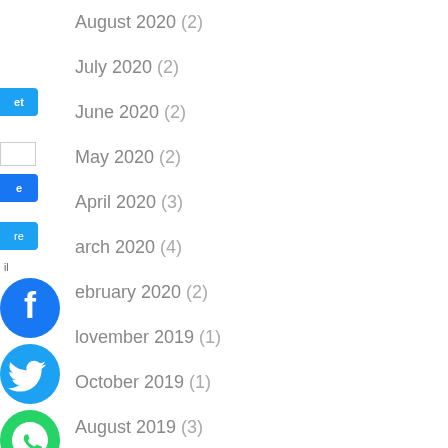August 2020 (2)
July 2020 (2)
June 2020 (2)
May 2020 (2)
April 2020 (3)
March 2020 (4)
February 2020 (2)
November 2019 (1)
October 2019 (1)
August 2019 (3)
July 2019 (2)
June 2019 (3)
April 2019 (2)